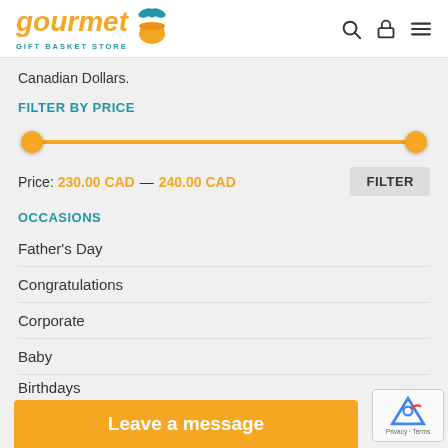[Figure (logo): Gourmet Gift Basket Store logo with orange text and gift basket icon]
Canadian Dollars.
FILTER BY PRICE
[Figure (other): Price range slider with two orange circle handles and orange track, from left to right]
Price: 230.00 CAD — 240.00 CAD
OCCASIONS
Father's Day
Congratulations
Corporate
Baby
Birthdays
We
Leave a message